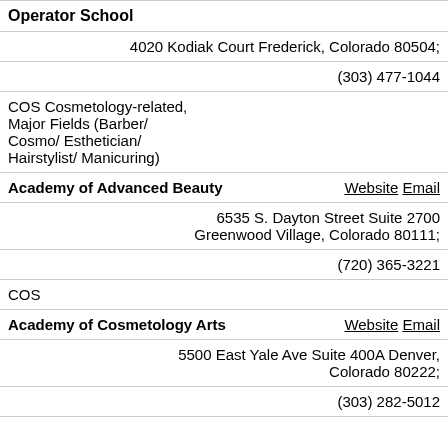Operator School
4020 Kodiak Court Frederick, Colorado 80504;
(303) 477-1044
COS Cosmetology-related, Major Fields (Barber/ Cosmo/ Esthetician/ Hairstylist/ Manicuring)
Academy of Advanced Beauty  Website  Email
6535 S. Dayton Street Suite 2700 Greenwood Village, Colorado 80111;
(720) 365-3221
COS
Academy of Cosmetology Arts  Website  Email
5500 East Yale Ave Suite 400A Denver, Colorado 80222;
(303) 282-5012